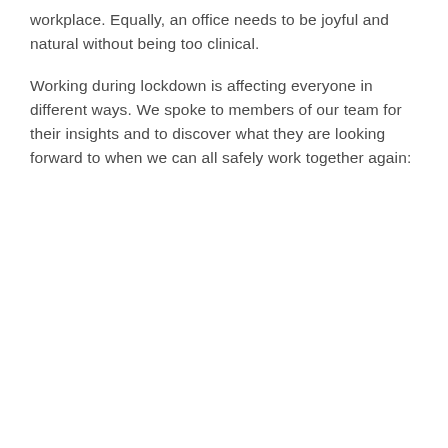workplace. Equally, an office needs to be joyful and natural without being too clinical.
Working during lockdown is affecting everyone in different ways. We spoke to members of our team for their insights and to discover what they are looking forward to when we can all safely work together again: